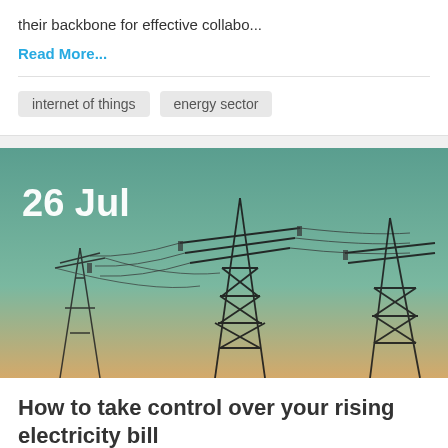their backbone for effective collabo...
Read More...
internet of things
energy sector
[Figure (photo): Photograph of electrical transmission towers/pylons against a teal and golden-hued sky, with overlaid white bold text '26 Jul']
How to take control over your rising electricity bill